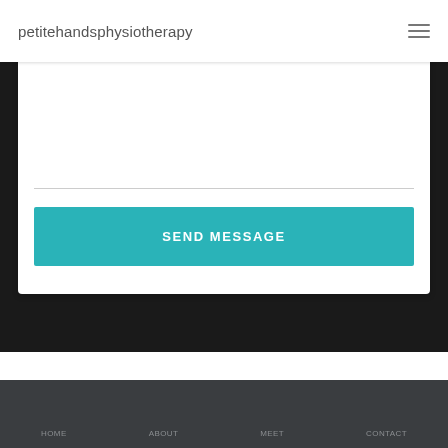petitehandsphysiotherapy
[Figure (screenshot): Contact form card with empty message textarea, a horizontal divider, and a teal SEND MESSAGE button on a dark background]
SEND MESSAGE
HOME   ABOUT   MEET   CONTACT